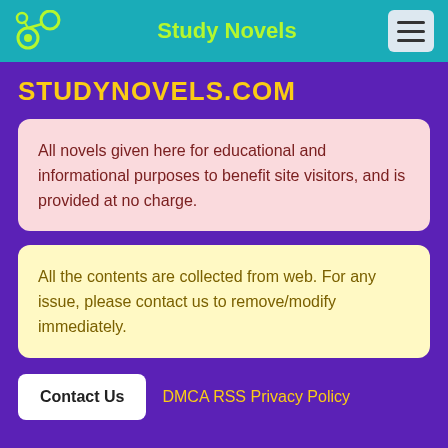Study Novels
STUDYNOVELS.COM
All novels given here for educational and informational purposes to benefit site visitors, and is provided at no charge.
All the contents are collected from web. For any issue, please contact us to remove/modify immediately.
Contact Us   DMCA RSS Privacy Policy
© 2022 - StudyNovels.com